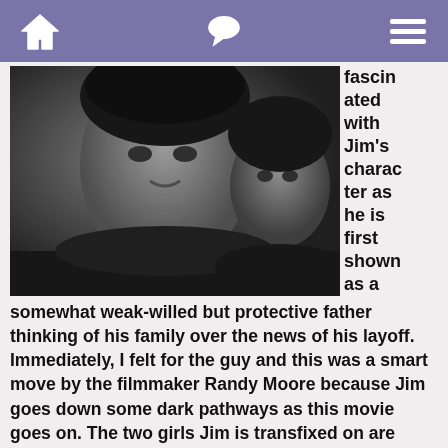[home icon] [chat icon] [menu icon]
[Figure (photo): Black and white film still showing a man and a young girl looking forward with serious expressions]
fascinated with Jim's character as he is first shown as a somewhat weak-willed but protective father thinking of his family over the news of his layoff. Immediately, I felt for the guy and this was a smart move by the filmmaker Randy Moore because Jim goes down some dark pathways as this movie goes on. The two girls Jim is transfixed on are literally half his age if not more and underage at that. I'm sure many will find this fact to be a deal breaker in terms of liking Jim, but because he's been set up as a likable loser, I couldn't help but feel for